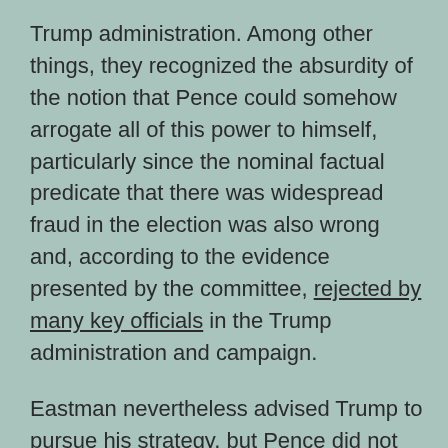Trump administration. Among other things, they recognized the absurdity of the notion that Pence could somehow arrogate all of this power to himself, particularly since the nominal factual predicate that there was widespread fraud in the election was also wrong and, according to the evidence presented by the committee, rejected by many key officials in the Trump administration and campaign.

Eastman nevertheless advised Trump to pursue his strategy, but Pence did not go along, and the result was the Jan. 6 riot.